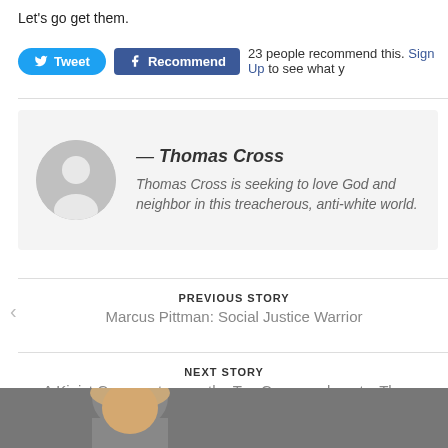Let's go get them.
23 people recommend this. Sign Up to see what y…
— Thomas Cross
Thomas Cross is seeking to love God and neighbor in this treacherous, anti-white world.
PREVIOUS STORY
Marcus Pittman: Social Justice Warrior
NEXT STORY
A Kinist Commentary on the Ten Commandments: The First Word
[Figure (photo): Partial view of a person's head/face at the bottom of the page]